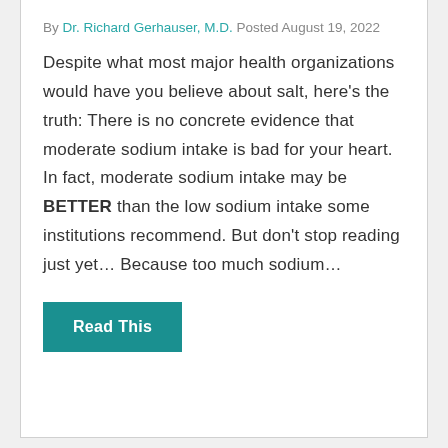By Dr. Richard Gerhauser, M.D. Posted August 19, 2022
Despite what most major health organizations would have you believe about salt, here's the truth: There is no concrete evidence that moderate sodium intake is bad for your heart. In fact, moderate sodium intake may be BETTER than the low sodium intake some institutions recommend. But don't stop reading just yet… Because too much sodium…
Read This